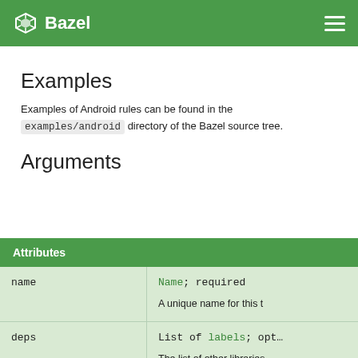Bazel
Examples
Examples of Android rules can be found in the examples/android directory of the Bazel source tree.
Arguments
| Attributes |  |
| --- | --- |
| name | Name; required

A unique name for this t… |
| deps | List of labels; opt…

The list of other libraries types are: android_lib… |